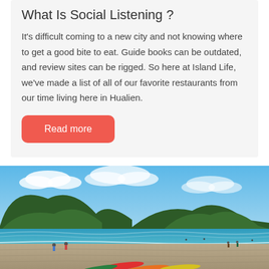What Is Social Listening ?
It’s difficult coming to a new city and not knowing where to get a good bite to eat. Guide books can be outdated, and review sites can be rigged. So here at Island Life, we’ve made a list of all of our favorite restaurants from our time living here in Hualien.
Read more
[Figure (photo): A beach scene with turquoise ocean, mountains in the background, sandy shore with colorful kayaks and people, under a partly cloudy blue sky.]